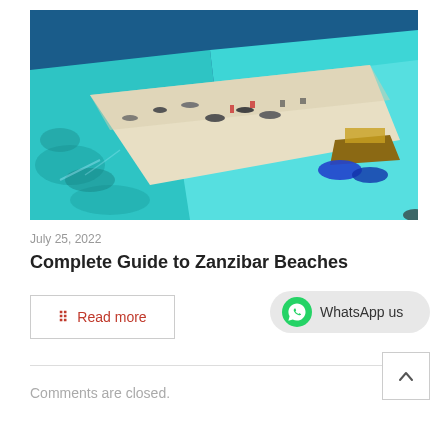[Figure (photo): Aerial view of a narrow white sand beach strip surrounded by turquoise blue water, with boats and people visible on the beach]
July 25, 2022
Complete Guide to Zanzibar Beaches
Read more
WhatsApp us
Comments are closed.